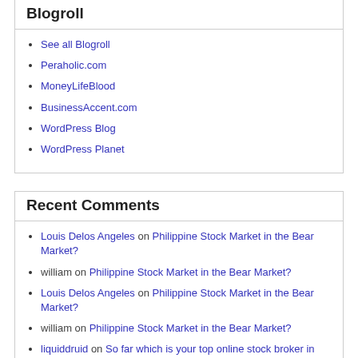Blogroll
See all Blogroll
Peraholic.com
MoneyLifeBlood
BusinessAccent.com
WordPress Blog
WordPress Planet
Recent Comments
Louis Delos Angeles on Philippine Stock Market in the Bear Market?
william on Philippine Stock Market in the Bear Market?
Louis Delos Angeles on Philippine Stock Market in the Bear Market?
william on Philippine Stock Market in the Bear Market?
liquiddruid on So far which is your top online stock broker in